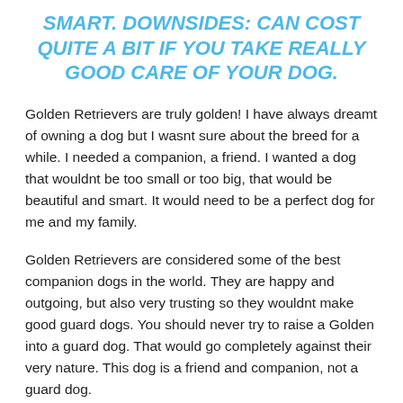SMART. DOWNSIDES: CAN COST QUITE A BIT IF YOU TAKE REALLY GOOD CARE OF YOUR DOG.
Golden Retrievers are truly golden! I have always dreamt of owning a dog but I wasnt sure about the breed for a while. I needed a companion, a friend. I wanted a dog that wouldnt be too small or too big, that would be beautiful and smart. It would need to be a perfect dog for me and my family.
Golden Retrievers are considered some of the best companion dogs in the world. They are happy and outgoing, but also very trusting so they wouldnt make good guard dogs. You should never try to raise a Golden into a guard dog. That would go completely against their very nature. This dog is a friend and companion, not a guard dog.